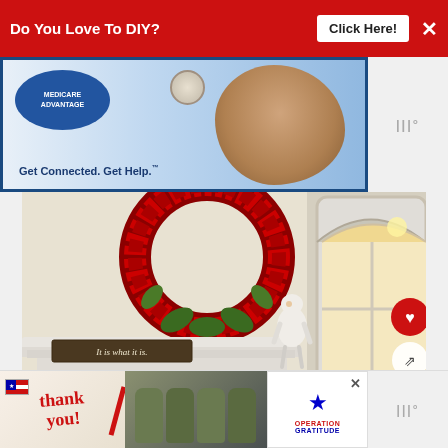[Figure (screenshot): Top red advertisement banner with text 'Do You Love To DIY?' and 'Click Here!' button and X close button]
[Figure (screenshot): Sub-advertisement banner for 'Get Connected. Get Help.' service with blue background and hand image]
[Figure (photo): Interior home photo showing fireplace mantel with red floral wreath, small lamb figurine, 'It is what it is.' sign, and arched window with door]
[Figure (screenshot): Bottom advertisement banner for Operation Gratitude 'Thank you' campaign with military imagery]
WHAT'S NEXT → Love Songs And Lyrics